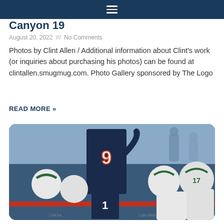Canyon 19
August 20, 2022 /// No Comments
Photos by Clint Allen / Additional information about Clint's work (or inquiries about purchasing his photos) can be found at clintallen.smugmug.com. Photo Gallery sponsored by The Logo
READ MORE »
[Figure (photo): Football game action photo showing players from two teams — one in dark navy uniforms with orange numbers (number 9 and number 1 visible) and another in white uniforms with green trim (number 17 visible). Players are clustered together on the field with stadium lights and spectators in the blurred background.]